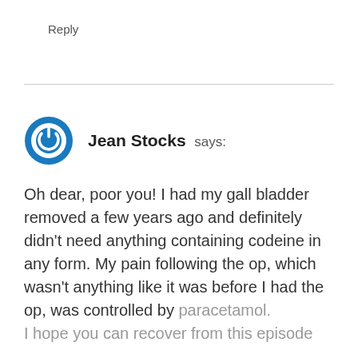Reply
Jean Stocks says:
Oh dear, poor you! I had my gall bladder removed a few years ago and definitely didn't need anything containing codeine in any form. My pain following the op, which wasn't anything like it was before I had the op, was controlled by paracetamol.
I hope you can recover from this episode